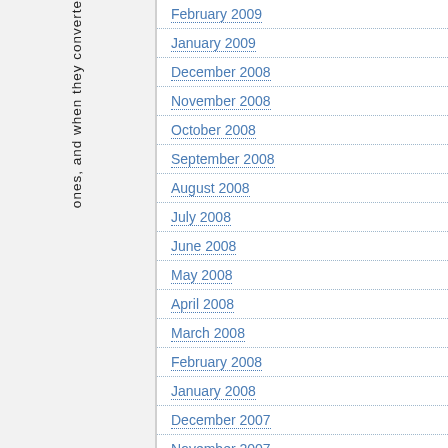ones, and when they converte
February 2009
January 2009
December 2008
November 2008
October 2008
September 2008
August 2008
July 2008
June 2008
May 2008
April 2008
March 2008
February 2008
January 2008
December 2007
November 2007
October 2007
September 2007
August 2007
July 2007
June 2007